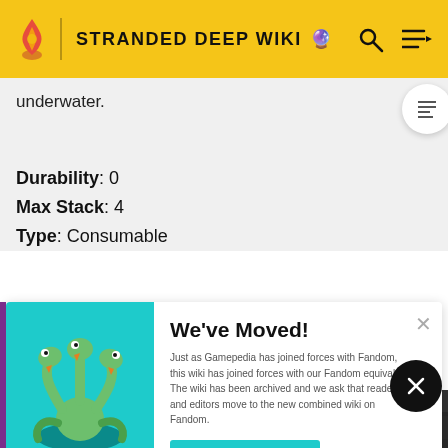STRANDED DEEP WIKI
underwater.
Durability: 0
Max Stack: 4
Type: Consumable
[Figure (screenshot): We've Moved! popup with Gamepedia/Fandom migration notice, teal hydra image on the left, GO TO NEW WIKI button]
[Figure (photo): Apex Legends advertisement banner showing a character aiming a sniper rifle on teal background]